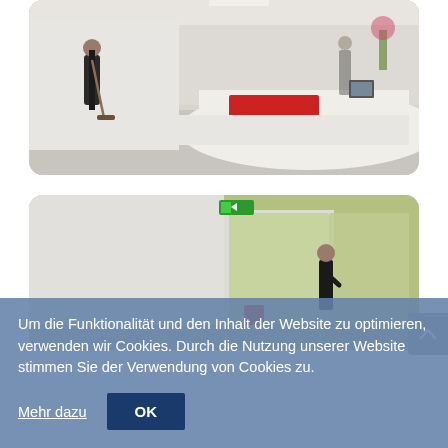[Figure (photo): Interior photo of a modern building lobby/reception area. A person in dark clothing walks with a broom. A curved white reception desk with a red illuminated front panel is visible in the background.]
[Figure (photo): Interior photo of a room with yellow-green walls. A person in dark clothing is handling a door or partition. Emergency exit sign visible on ceiling. Fire safety equipment on wall.]
Um die Funktionalität und den Inhalt der Website zu optimieren, verwenden wir Cookies. Durch die Nutzung unserer Website stimmen Sie der Verwendung von Cookies zu.
Mehr dazu
OK